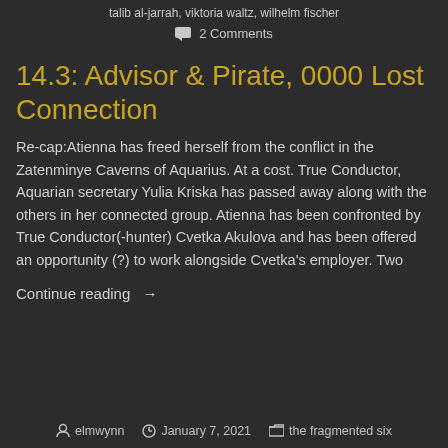talib al-jarrah, viktoria waltz, wilhelm fischer
2 Comments
14.3: Advisor & Pirate, 0000 Lost Connection
Re-cap:Atienna has freed herself from the conflict in the Zatenminye Caverns of Aquarius. At a cost. True Conductor, Aquarian secretary Yulia Kriska has passed away along with the others in her connected group. Atienna has been confronted by True Conductor(-hunter) Cvetka Akulova and has been offered an opportunity (?) to work alongside Cvetka's employer. Two
Continue reading →
elmwynn  January 7, 2021  the fragmented six